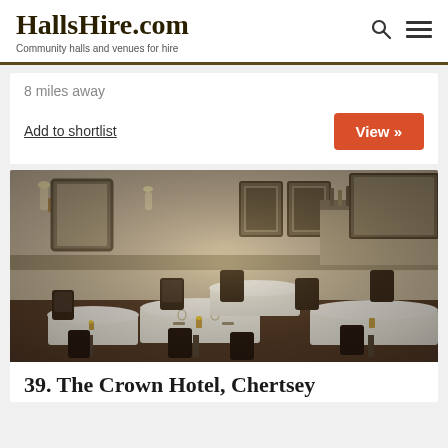HallsHire.com — Community halls and venues for hire
8 miles away
Add to shortlist
View »
[Figure (photo): Interior of a restaurant dining room with white tablecloths, dark wood chairs, wall sconces, framed pictures, and a bar area in the background. Warm, dimly lit ambiance.]
39. The Crown Hotel, Chertsey